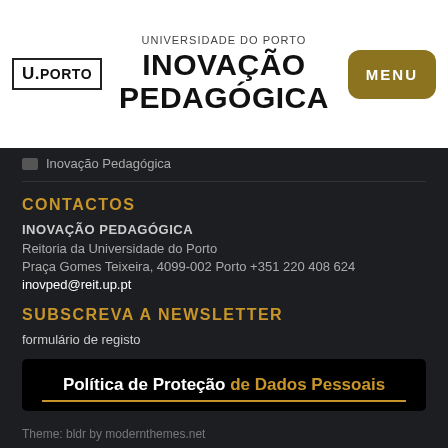U.PORTO | UNIVERSIDADE DO PORTO INOVAÇÃO PEDAGÓGICA | MENU
Inovação Pedagógica
CONTACTOS
INOVAÇÃO PEDAGÓGICA
Reitoria da Universidade do Porto
Praça Gomes Teixeira, 4099-002 Porto +351 220 408 624
inovped@reit.up.pt
SUBSCREVA A NEWSLETTER
formulário de registo
[Figure (other): Black banner with text: Política de Proteção de Dados Pessoais, with gold underline]
Theme: bldr by modernthemes.net